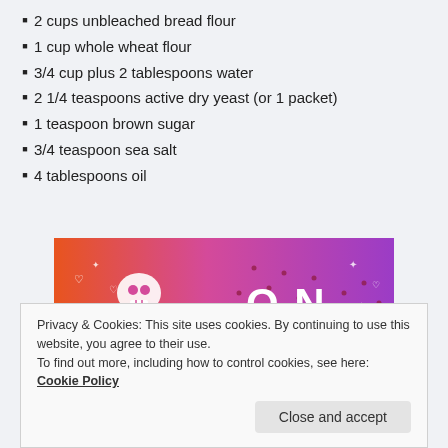2 cups unbleached bread flour
1 cup whole wheat flour
3/4 cup plus 2 tablespoons water
2 1/4 teaspoons active dry yeast (or 1 packet)
1 teaspoon brown sugar
3/4 teaspoon sea salt
4 tablespoons oil
[Figure (photo): Tumblr promotional banner image with colorful gradient background (orange to purple) showing 'ON tumblr' text with doodle illustrations including skull, octopus, leaf creature, music notes, hearts, and other cartoon drawings.]
Privacy & Cookies: This site uses cookies. By continuing to use this website, you agree to their use.
To find out more, including how to control cookies, see here: Cookie Policy
Close and accept